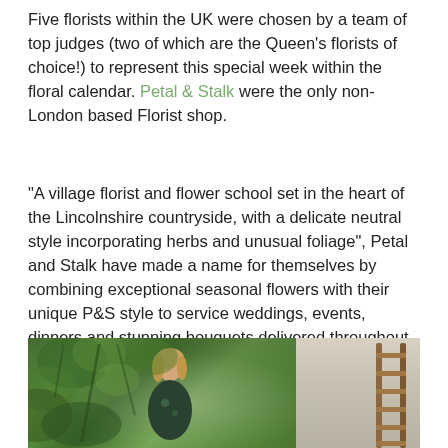Five florists within the UK were chosen by a team of top judges (two of which are the Queen's florists of choice!) to represent this special week within the floral calendar. Petal & Stalk were the only non-London based Florist shop.
"A village florist and flower school set in the heart of the Lincolnshire countryside, with a delicate neutral style incorporating herbs and unusual foliage", Petal and Stalk have made a name for themselves by combining exceptional seasonal flowers with their unique P&S style to service weddings, events, dinners and stunning bouquets delivered throughout the Lincoln area.
[Figure (photo): Photo showing a woman with blonde hair smiling, surrounded by leafy green foliage/trees, next to an image of a wooden ladder leaning against a light-coloured wall.]